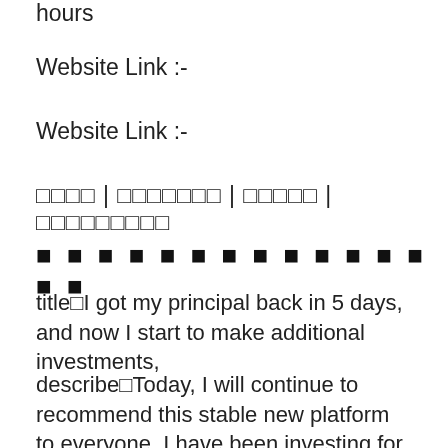hours
Website Link :-
Website Link :-
□□□□ | □□□□□□□ | □□□□□ | □□□□□□□□□
■ ■ ■ ■ ■ ■ ■ ■ ■ ■ ■ ■ ■ ■ ■
title□I got my principal back in 5 days, and now I start to make additional investments,
describe□Today, I will continue to recommend this stable new platform to everyone. I have been investing for